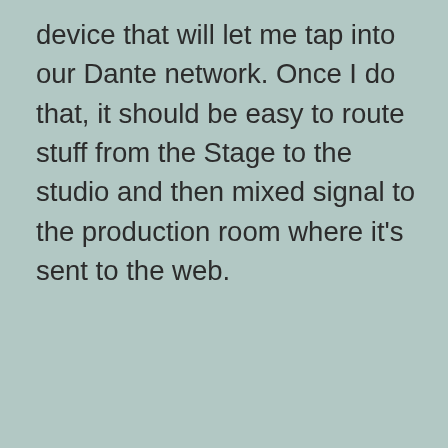device that will let me tap into our Dante network. Once I do that, it should be easy to route stuff from the Stage to the studio and then mixed signal to the production room where it's sent to the web.
Reply
Dennis Liszcz
April 28, 2018 at 8:19 pm
[Figure (illustration): Avatar icon: yellow square face with black oval sunglasses and a small rectangular mouth, inside a circular green-tinted border]
Hi Kevin. Enjoy all the Saturday Summaries! Nice to here about broader interests then only